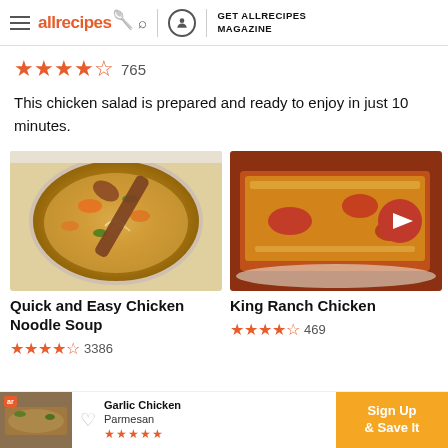allrecipes | GET ALLRECIPES MAGAZINE
★★★★☆ 765
This chicken salad is prepared and ready to enjoy in just 10 minutes.
[Figure (photo): Bowl of chicken noodle soup with carrots and a wooden spoon]
Quick and Easy Chicken Noodle Soup
★★★★☆ 3386
[Figure (photo): King Ranch Chicken casserole on a plate with a red arrow next button]
King Ranch Chicken
★★★★☆ 469
[Figure (screenshot): Bottom banner ad: Garlic Chicken Parmesan with Sign Up & Save It button]